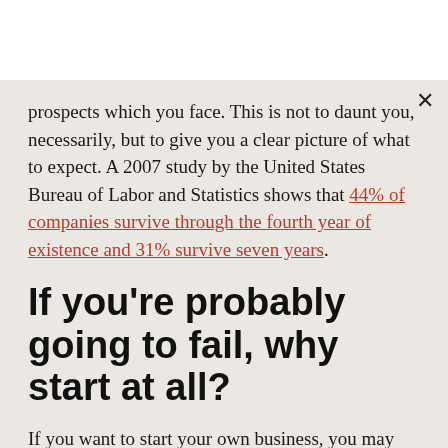prospects which you face. This is not to daunt you, necessarily, but to give you a clear picture of what to expect. A 2007 study by the United States Bureau of Labor and Statistics shows that 44% of companies survive through the fourth year of existence and 31% survive seven years.
If you're probably going to fail, why start at all?
If you want to start your own business, you may feel like Odysseus at the beginning of his journey back